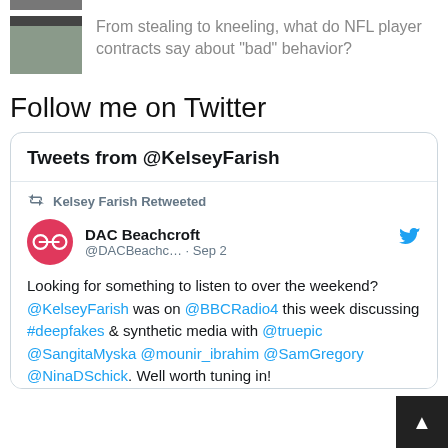[Figure (photo): Partial thumbnail image at top (cropped, showing dark/sports imagery)]
[Figure (photo): Thumbnail image of NFL players, partially visible on left side]
From stealing to kneeling, what do NFL player contracts say about "bad" behavior?
Follow me on Twitter
Tweets from @KelseyFarish
Kelsey Farish Retweeted
DAC Beachcroft @DACBeachc… · Sep 2
Looking for something to listen to over the weekend? @KelseyFarish was on @BBCRadio4 this week discussing #deepfakes & synthetic media with @truepic @SangitaMyska @mounir_ibrahim @SamGregory @NinaDSchick. Well worth tuning in!